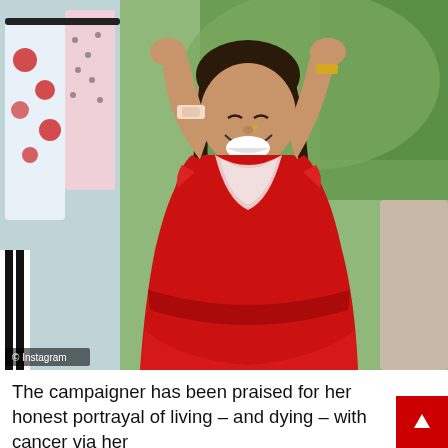[Figure (photo): A woman wearing a bright red dress laughing with arms raised above her head, standing in front of a clothing rack with floral and patterned garments. Green outdoor background visible. Instagram watermark in bottom left corner.]
The campaigner has been praised for her honest portrayal of living – and dying – with cancer via her